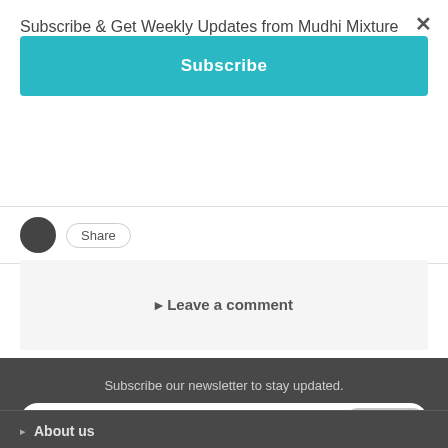Subscribe & Get Weekly Updates from Mudhi Mixture
Subscribe
[Figure (other): Dark circular social share icon and a Share button with rounded border]
Leave a comment
Subscribe our newsletter to stay updated.
Enter your e-mail ...  Subscribe
About us
Our team